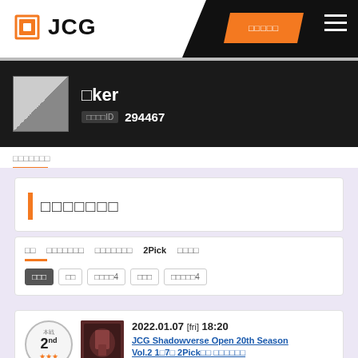JCG
□ker  プレイヤーID  294467
参加履歴
□□□□□□□
全て  シャドウバース  デジタルカード  2Pick  その他
全部  公式  カップ4  公認  公認カップ4
2022.01.07 [fri] 18:20  JCG Shadowverse Open 20th Season Vol.2 1□7□ 2Pick□□ □□□□□□
[Figure (illustration): 2nd place badge with stars and dark card game image thumbnail]